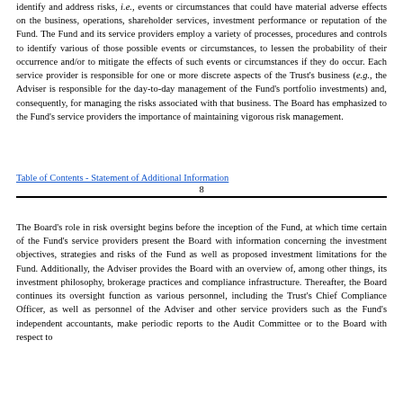identify and address risks, i.e., events or circumstances that could have material adverse effects on the business, operations, shareholder services, investment performance or reputation of the Fund. The Fund and its service providers employ a variety of processes, procedures and controls to identify various of those possible events or circumstances, to lessen the probability of their occurrence and/or to mitigate the effects of such events or circumstances if they do occur. Each service provider is responsible for one or more discrete aspects of the Trust's business (e.g., the Adviser is responsible for the day-to-day management of the Fund's portfolio investments) and, consequently, for managing the risks associated with that business. The Board has emphasized to the Fund's service providers the importance of maintaining vigorous risk management.
Table of Contents - Statement of Additional Information
8
The Board's role in risk oversight begins before the inception of the Fund, at which time certain of the Fund's service providers present the Board with information concerning the investment objectives, strategies and risks of the Fund as well as proposed investment limitations for the Fund. Additionally, the Adviser provides the Board with an overview of, among other things, its investment philosophy, brokerage practices and compliance infrastructure. Thereafter, the Board continues its oversight function as various personnel, including the Trust's Chief Compliance Officer, as well as personnel of the Adviser and other service providers such as the Fund's independent accountants, make periodic reports to the Audit Committee or to the Board with respect to